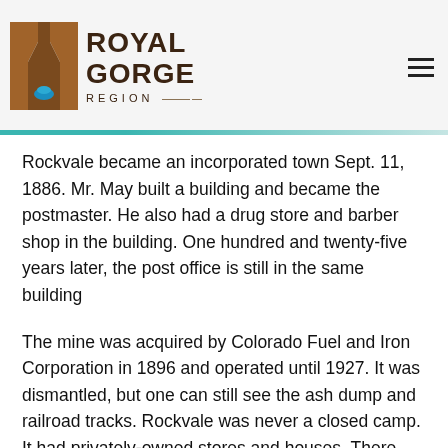[Figure (logo): Royal Gorge Region logo with canyon/gorge icon and text]
Rockvale became an incorporated town Sept. 11, 1886.  Mr. May built a building and became the postmaster. He also had a drug store and barber shop in the building. One hundred and twenty-five years later, the post office is still in the same building
The mine was acquired by Colorado Fuel and Iron Corporation in 1896 and operated until 1927. It was dismantled, but one can still see the ash dump and railroad tracks. Rockvale was never a closed camp. It had privately-owned stores and houses. There was the CFI store and meat store, but you could shop at any store. The mine did have buildings built for single men to rent and a bathhouse for the miners. The mine employed 300 men and produced 1,200 tons a day, requiring